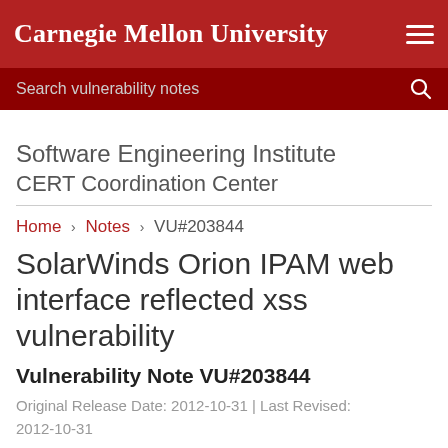Carnegie Mellon University
Search vulnerability notes
Software Engineering Institute
CERT Coordination Center
Home > Notes > VU#203844
SolarWinds Orion IPAM web interface reflected xss vulnerability
Vulnerability Note VU#203844
Original Release Date: 2012-10-31 | Last Revised: 2012-10-31
[Figure (infographic): Social sharing icons: print, Twitter, Facebook, and a plus/add button]